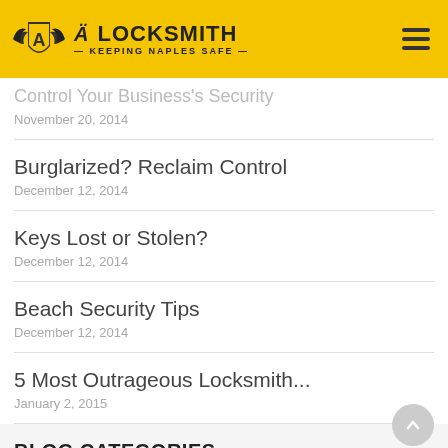A Locksmith — Keeping Naples Safe
Control Your Business's Security
November 20, 2014
Burglarized? Reclaim Control
December 12, 2014
Keys Lost or Stolen?
December 12, 2014
Beach Security Tips
December 12, 2014
5 Most Outrageous Locksmith...
January 2, 2015
BLOG CATEGORIES